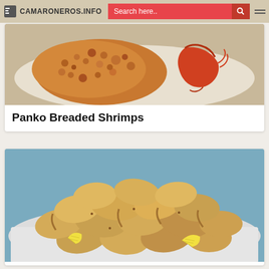CAMARONEROS.INFO | Search here..
[Figure (photo): Panko breaded shrimp on a white plate with a whole shrimp on the side]
Panko Breaded Shrimps
[Figure (photo): Beer breaded shrimps piled on a white plate with lemon wedges on a blue background]
Beer Breaded Shrimps